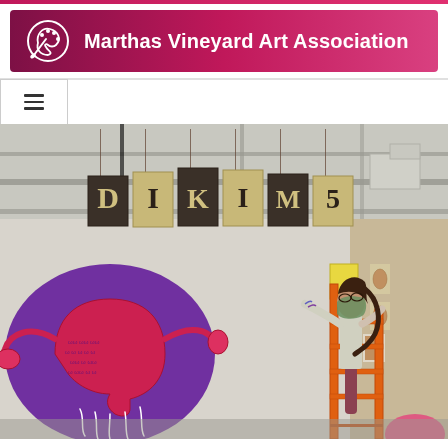[Figure (logo): Marthas Vineyard Art Association banner with palette and paintbrush icon on dark magenta/crimson gradient background]
[Figure (photo): A person wearing a mask and standing on an orange ladder installing artwork in a gallery. Colorful artwork including a large purple and red uterus painting and hanging banner letters are visible on the wall.]